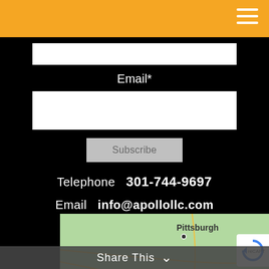[Figure (screenshot): Orange navigation bar with hamburger menu icon (three white lines) on the right side]
Email*
[Figure (screenshot): White input text field for email subscription]
Subscribe
Telephone  301-744-9697
Email  info@apollollc.com
[Figure (map): Google Maps screenshot showing mid-Atlantic region including Pittsburgh, Philadelphia, Maryland, New Jersey, Washington DC, Delaware, West Virginia, and Charlottesville]
Share This